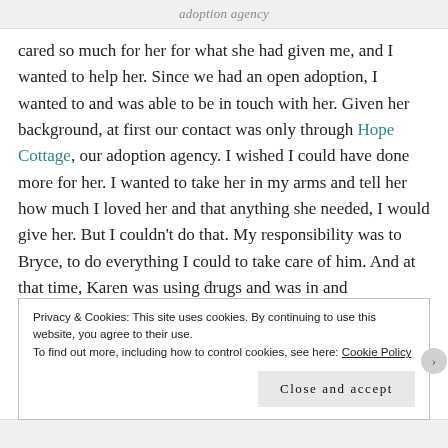adoption agency
cared so much for her for what she had given me, and I wanted to help her. Since we had an open adoption, I wanted to and was able to be in touch with her. Given her background, at first our contact was only through Hope Cottage, our adoption agency. I wished I could have done more for her. I wanted to take her in my arms and tell her how much I loved her and that anything she needed, I would give her. But I couldn't do that. My responsibility was to Bryce, to do everything I could to take care of him. And at that time, Karen was using drugs and was in and
Privacy & Cookies: This site uses cookies. By continuing to use this website, you agree to their use.
To find out more, including how to control cookies, see here: Cookie Policy
Close and accept